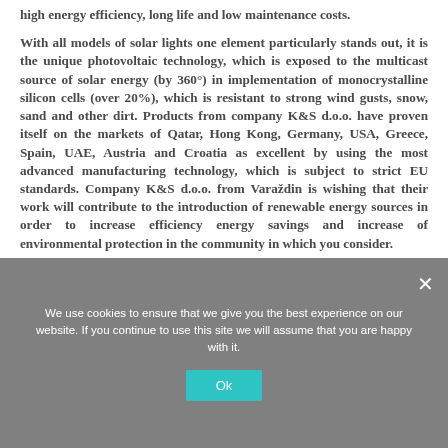high energy efficiency, long life and low maintenance costs.

With all models of solar lights one element particularly stands out, it is the unique photovoltaic technology, which is exposed to the multicast source of solar energy (by 360°) in implementation of monocrystalline silicon cells (over 20%), which is resistant to strong wind gusts, snow, sand and other dirt. Products from company K&S d.o.o. have proven itself on the markets of Qatar, Hong Kong, Germany, USA, Greece, Spain, UAE, Austria and Croatia as excellent by using the most advanced manufacturing technology, which is subject to strict EU standards. Company K&S d.o.o. from Varaždin is wishing that their work will contribute to the introduction of renewable energy sources in order to increase efficiency energy savings and increase of environmental protection in the community in which you consider.
We use cookies to ensure that we give you the best experience on our website. If you continue to use this site we will assume that you are happy with it.